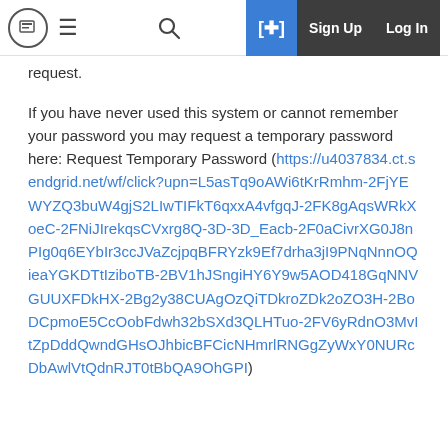Logo | Menu | Search | [+] Sign Up | Log In
request.
If you have never used this system or cannot remember your password you may request a temporary password here: Request Temporary Password (https://u4037834.ct.sendgrid.net/wf/click?upn=L5asTq9oAWi6tKrRmhm-2FjYEWYZQ3buW4gjS2LIwTIFkT6qxxA4vfgqJ-2FK8gAqsWRkXoeC-2FNiJIrekqsCVxrg8Q-3D-3D_Eacb-2F0aCivrXG0J8nPIg0q6EYbIr3ccJVaZcjpqBFRYzk9Ef7drha3jI9PNqNnnOQieaYGKDTtIziboTB-2BV1hJSngiHY6Y9w5AOD418GqNNVGUUXFDkHX-2Bg2y38CUAgOzQiTDkroZDk2oZO3H-2BoDCpmoE5CcOobFdwh32bSXd3QLHTuo-2FV6yRdnO3MvItZpDddQwndGHsOJhbicBFCicNHmrlRNGgZyWxY0NURcDbAwlVtQdnRJT0tBbQA9OhGPI)